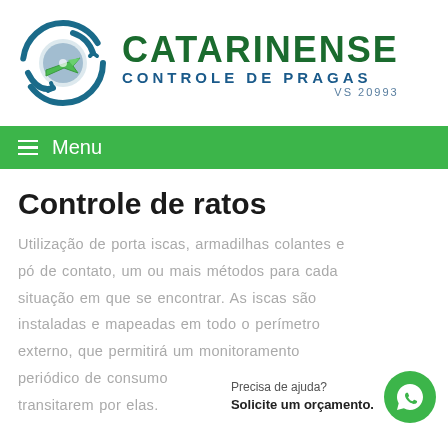[Figure (logo): Catarinense Controle de Pragas logo — circular blue/green arrow icon with a green airplane, beside text 'CATARINENSE' in dark green and 'CONTROLE DE PRAGAS' in blue, 'VS 20993' in blue-grey]
≡  Menu
Controle de ratos
Utilização de porta iscas, armadilhas colantes e pó de contato, um ou mais métodos para cada situação em que se encontrar. As iscas são instaladas e mapeadas em todo o perímetro externo, que permitirá um monitoramento periódico de consumo e animais que transitarem por elas.
Precisa de ajuda?
Solicite um orçamento.